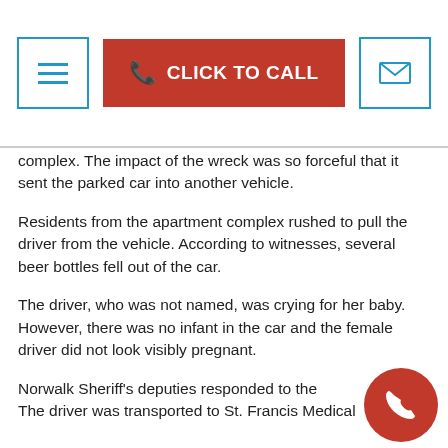CLICK TO CALL
complex. The impact of the wreck was so forceful that it sent the parked car into another vehicle.
Residents from the apartment complex rushed to pull the driver from the vehicle. According to witnesses, several beer bottles fell out of the car.
The driver, who was not named, was crying for her baby. However, there was no infant in the car and the female driver did not look visibly pregnant.
Norwalk Sheriff's deputies responded to the… The driver was transported to St. Francis Medical